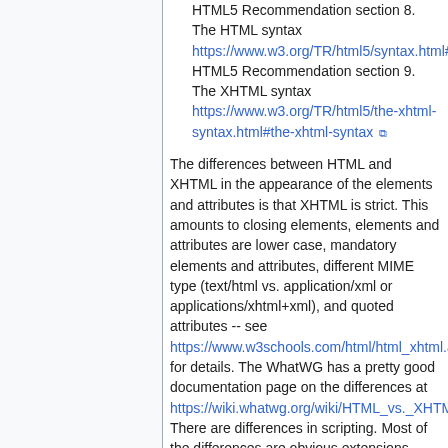HTML5 Recommendation section 8. The HTML syntax https://www.w3.org/TR/html5/syntax.html#s HTML5 Recommendation section 9. The XHTML syntax https://www.w3.org/TR/html5/the-xhtml-syntax.html#the-xhtml-syntax
The differences between HTML and XHTML in the appearance of the elements and attributes is that XHTML is strict. This amounts to closing elements, elements and attributes are lower case, mandatory elements and attributes, different MIME type (text/html vs. application/xml or applications/xhtml+xml), and quoted attributes -- see https://www.w3schools.com/html/html_xhtml.a for details. The WhatWG has a pretty good documentation page on the differences at https://wiki.whatwg.org/wiki/HTML_vs._XHTML There are differences in scripting. Most of the differences are obvious extensions from XHTML being an XML document. The W3C HTML 5 specification